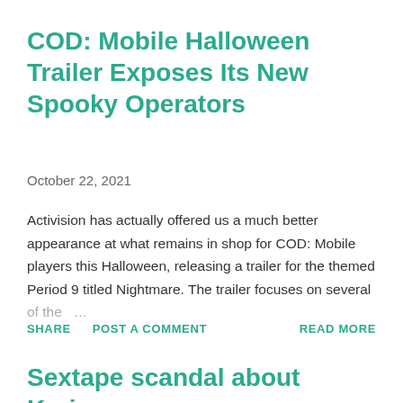COD: Mobile Halloween Trailer Exposes Its New Spooky Operators
October 22, 2021
Activision has actually offered us a much better appearance at what remains in shop for COD: Mobile players this Halloween, releasing a trailer for the themed Period 9 titled Nightmare. The trailer focuses on several of the ...
SHARE   POST A COMMENT   READ MORE
Sextape scandal about Karim